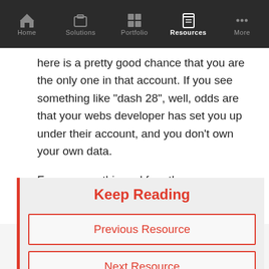Home  Solutions  Portfolio  Resources  More
here is a pretty good chance that you are the only one in that account. If you see something like "dash 28", well, odds are that your webs developer has set you up under their account, and you don't own your own data.

For more on this and for other resources, visit our website at www.aorweb.ca.  Thanks for listening.
Keep Reading
Previous Resource
Next Resource